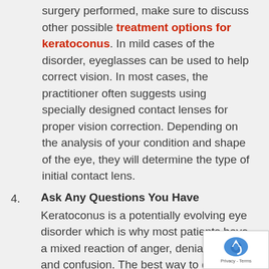surgery performed, make sure to discuss other possible treatment options for keratoconus. In mild cases of the disorder, eyeglasses can be used to help correct vision. In most cases, the practitioner often suggests using specially designed contact lenses for proper vision correction. Depending on the analysis of your condition and shape of the eye, they will determine the type of initial contact lens.
4. Ask Any Questions You Have
Keratoconus is a potentially evolving eye disorder which is why most patients have a mixed reaction of anger, denial, fear, and confusion. The best way to deal with the situation is to talk to the experts and discuss your concerns. This will help you understand the condition and give you peace of mind. In addition to this, having rational discussions with your doctor will help you decide